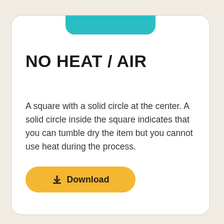[Figure (illustration): Teal/cyan rounded rectangular bar at top center of card, partially cut off at top]
NO HEAT / AIR
A square with a solid circle at the center. A solid circle inside the square indicates that you can tumble dry the item but you cannot use heat during the process.
[Figure (other): Yellow pill-shaped Download button with download icon and bold text 'Download']